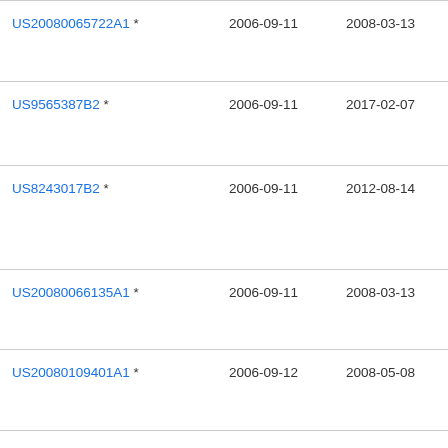| Publication | Priority Date | Filing Date | Assignee |
| --- | --- | --- | --- |
| US20080065722A1 * | 2006-09-11 | 2008-03-13 | App Inc |
| US9565387B2 * | 2006-09-11 | 2017-02-07 | App |
| US8243017B2 * | 2006-09-11 | 2012-08-14 | App |
| US20080066135A1 * | 2006-09-11 | 2008-03-13 | App Inc |
| US20080109401A1 * | 2006-09-12 | 2008-05-08 | Mic Cor |
| CA2989780A1 | 2006-09-14 | 2008-03-20 | Ve |